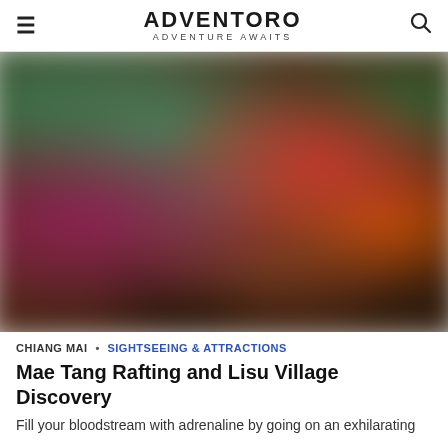ADVENTORO — ADVENTURE AWAITS
[Figure (photo): Blurred colorful photo background, likely showing people in traditional or colorful clothing in an outdoor or market setting. Colors include reds, greens, and earth tones.]
CHIANG MAI • SIGHTSEEING & ATTRACTIONS
Mae Tang Rafting and Lisu Village Discovery
Fill your bloodstream with adrenaline by going on an exhilarating